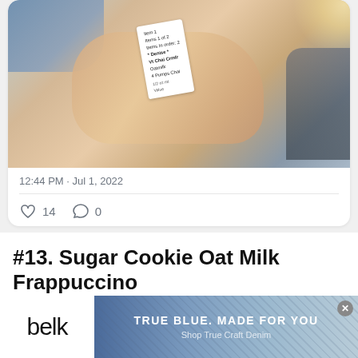[Figure (photo): A hand holding a Starbucks cup label/receipt showing order details including 'Denise', 'Vt Chai Crmfr', items 1 of 2, items in order 2]
12:44 PM · Jul 1, 2022
♡ 14  ○ 0
#13. Sugar Cookie Oat Milk Frappuccino
Starbucks has a festive drink known as sugar cookie
[Figure (photo): Belk advertisement banner: 'TRUE BLUE. MADE FOR YOU' with 'Shop True Craft Denim' subtext, featuring denim jeans background]